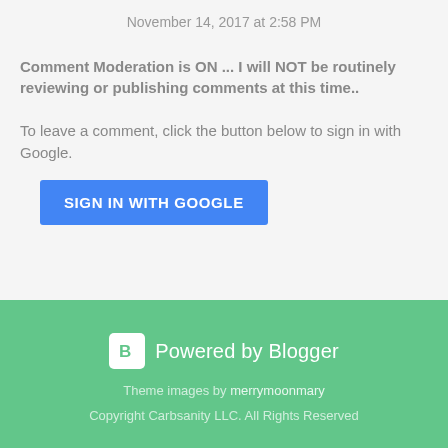November 14, 2017 at 2:58 PM
Comment Moderation is ON ... I will NOT be routinely reviewing or publishing comments at this time..
To leave a comment, click the button below to sign in with Google.
[Figure (other): SIGN IN WITH GOOGLE button - blue rectangular button with white uppercase text]
Powered by Blogger
Theme images by merrymoonmary
Copyright Carbsanity LLC. All Rights Reserved